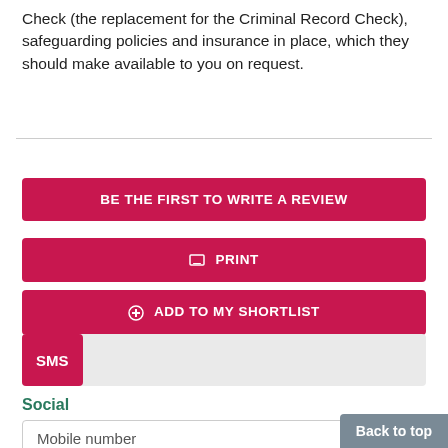Check (the replacement for the Criminal Record Check), safeguarding policies and insurance in place, which they should make available to you on request.
BE THE FIRST TO WRITE A REVIEW
PRINT
ADD TO MY SHORTLIST
SMS
Social
Mobile number
Back to top